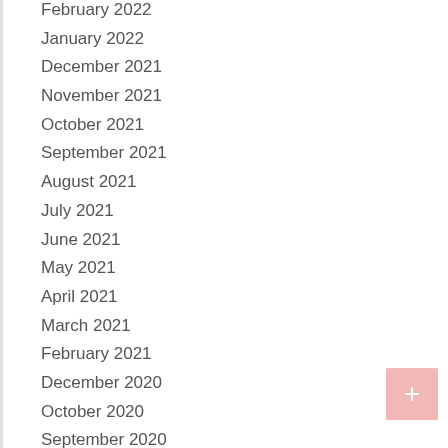February 2022
January 2022
December 2021
November 2021
October 2021
September 2021
August 2021
July 2021
June 2021
May 2021
April 2021
March 2021
February 2021
December 2020
October 2020
September 2020
August 2020
July 2020
June 2020